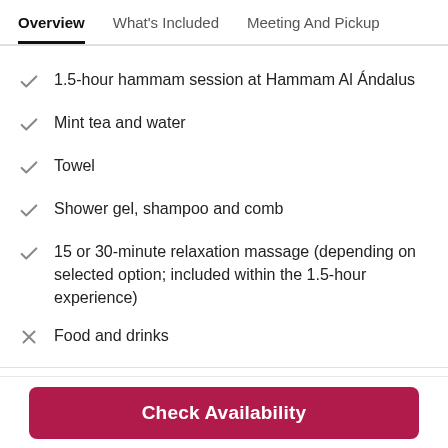Overview | What's Included | Meeting And Pickup
1.5-hour hammam session at Hammam Al Ándalus
Mint tea and water
Towel
Shower gel, shampoo and comb
15 or 30-minute relaxation massage (depending on selected option; included within the 1.5-hour experience)
Food and drinks
Check Availability